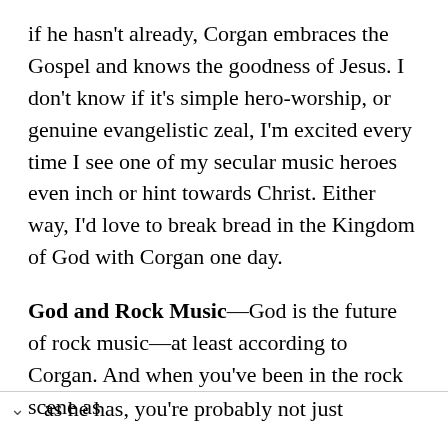if he hasn't already, Corgan embraces the Gospel and knows the goodness of Jesus. I don't know if it's simple hero-worship, or genuine evangelistic zeal, I'm excited every time I see one of my secular music heroes even inch or hint towards Christ. Either way, I'd love to break bread in the Kingdom of God with Corgan one day.
God and Rock Music—God is the future of rock music—at least according to Corgan. And when you've been in the rock scene as long as he has, you're probably not just